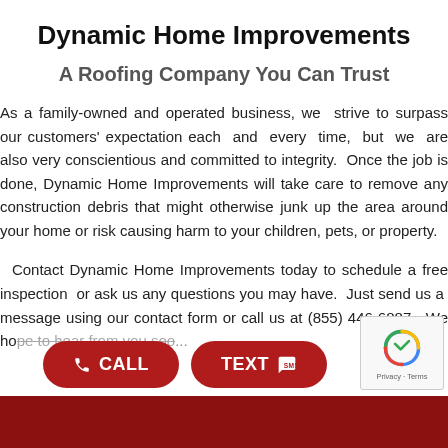Dynamic Home Improvements
A Roofing Company You Can Trust
As a family-owned and operated business, we strive to surpass our customers' expectation each and every time, but we are also very conscientious and committed to integrity. Once the job is done, Dynamic Home Improvements will take care to remove any construction debris that might otherwise junk up the area around your home or risk causing harm to your children, pets, or property.
Contact Dynamic Home Improvements today to schedule a free inspection or ask us any questions you may have. Just send us a message using our contact form or call us at (855) 446-6887. We ho... to hear from you soo...